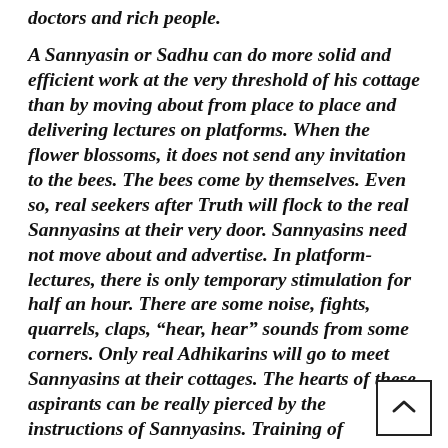doctors and rich people.
A Sannyasin or Sadhu can do more solid and efficient work at the very threshold of his cottage than by moving about from place to place and delivering lectures on platforms. When the flower blossoms, it does not send any invitation to the bees. The bees come by themselves. Even so, real seekers after Truth will flock to the real Sannyasins at their very door. Sannyasins need not move about and advertise. In platform-lectures, there is only temporary stimulation for half an hour. There are some noise, fights, quarrels, claps, “hear, hear” sounds from some corners. Only real Adhikarins will go to meet Sannyasins at their cottages. The hearts of these aspirants can be really pierced by the instructions of Sannyasins. Training of